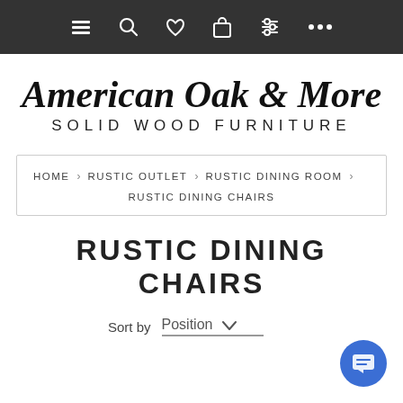Navigation bar with menu, search, wishlist, cart, filter, and more icons
[Figure (logo): American Oak & More - Solid Wood Furniture logo with script text and oak leaf graphic]
HOME > RUSTIC OUTLET > RUSTIC DINING ROOM > RUSTIC DINING CHAIRS
RUSTIC DINING CHAIRS
Sort by  Position